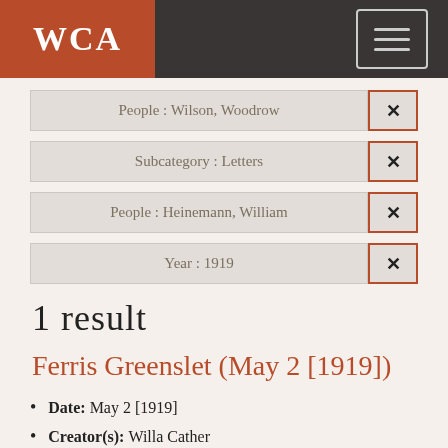WCA
People : Wilson, Woodrow [×]
Subcategory : Letters [×]
People : Heinemann, William [×]
Year : 1919 [×]
1 result
Ferris Greenslet (May 2 [1919])
Date: May 2 [1919]
Creator(s): Willa Cather
Category: Writings